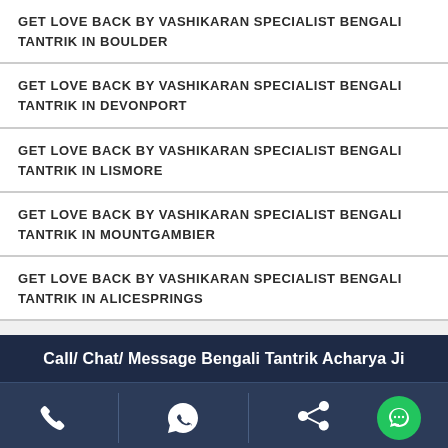GET LOVE BACK BY VASHIKARAN SPECIALIST BENGALI TANTRIK IN BOULDER
GET LOVE BACK BY VASHIKARAN SPECIALIST BENGALI TANTRIK IN DEVONPORT
GET LOVE BACK BY VASHIKARAN SPECIALIST BENGALI TANTRIK IN LISMORE
GET LOVE BACK BY VASHIKARAN SPECIALIST BENGALI TANTRIK IN MOUNTGAMBIER
GET LOVE BACK BY VASHIKARAN SPECIALIST BENGALI TANTRIK IN ALICESPRINGS
Call/ Chat/ Message Bengali Tantrik Acharya Ji
[Figure (infographic): Footer icon row with phone, WhatsApp/chat, share, and green chat bubble icons separated by vertical dividers]